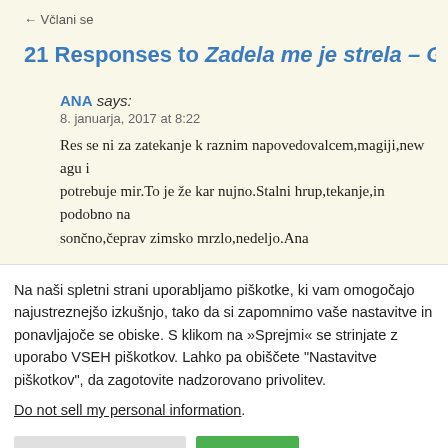← Včlani se
21 Responses to Zadela me je strela – Gloria
ANA says:
8. januarja, 2017 at 8:22
Res se ni za zatekanje k raznim napovedovalcem,magiji,new agu i… potrebuje mir.To je že kar nujno.Stalni hrup,tekanje,in podobno na… sončno,čeprav zimsko mrzlo,nedeljo.Ana
Na naši spletni strani uporabljamo piškotke, ki vam omogočajo najustreznejšo izkušnjo, tako da si zapomnimo vaše nastavitve in ponavljajoče se obiske. S klikom na »Sprejmi« se strinjate z uporabo VSEH piškotkov. Lahko pa obiščete "Nastavitve piškotkov", da zagotovite nadzorovano privolitev.
Do not sell my personal information.
Nastavitev piškotkov
Sprejmi